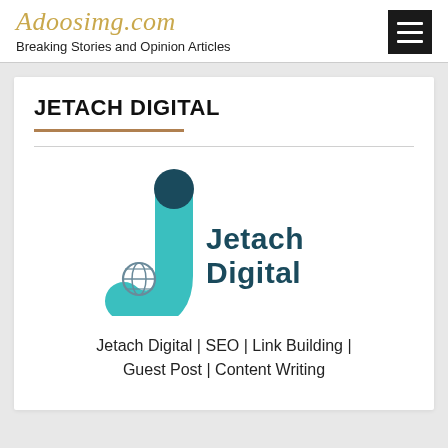Adoosimg.com — Breaking Stories and Opinion Articles
JETACH DIGITAL
[Figure (logo): Jetach Digital company logo featuring a stylized teal J-shape with a dark teal circle on top and a globe icon, with text 'Jetach Digital' in dark teal to the right.]
Jetach Digital | SEO | Link Building | Guest Post | Content Writing